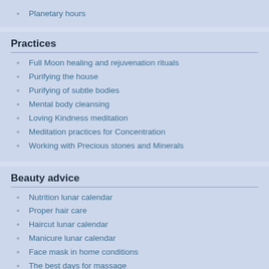Planetary hours
Practices
Full Moon healing and rejuvenation rituals
Purifying the house
Purifying of subtle bodies
Mental body cleansing
Loving Kindness meditation
Meditation practices for Concentration
Working with Precious stones and Minerals
Beauty advice
Nutrition lunar calendar
Proper hair care
Haircut lunar calendar
Manicure lunar calendar
Face mask in home conditions
The best days for massage
Beauty lunar calendar